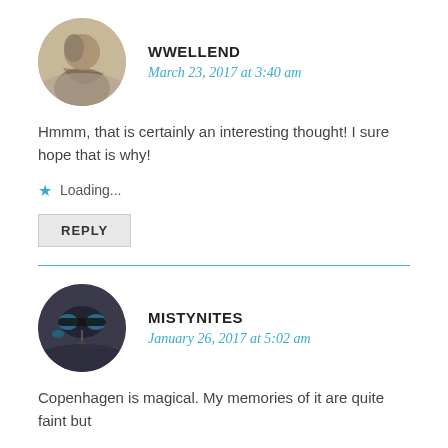[Figure (photo): Circular avatar photo of WWELLEND user, showing a person in outdoor/nature setting]
WWELLEND
March 23, 2017 at 3:40 am
Hmmm, that is certainly an interesting thought! I sure hope that is why!
Loading...
REPLY
[Figure (photo): Circular avatar photo of MISTYNITES user, showing a person wearing sunglasses and a headset/microphone]
MISTYNITES
January 26, 2017 at 5:02 am
Copenhagen is magical. My memories of it are quite faint but